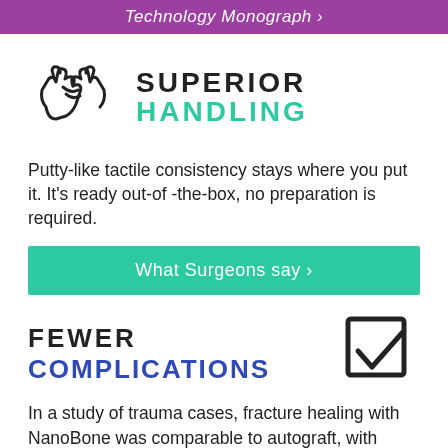Technology Monograph ›
SUPERIOR HANDLING
Putty-like tactile consistency stays where you put it. It's ready out-of-the-box, no preparation is required.
What Surgeons say ›
FEWER COMPLICATIONS
In a study of trauma cases, fracture healing with NanoBone was comparable to autograft, with